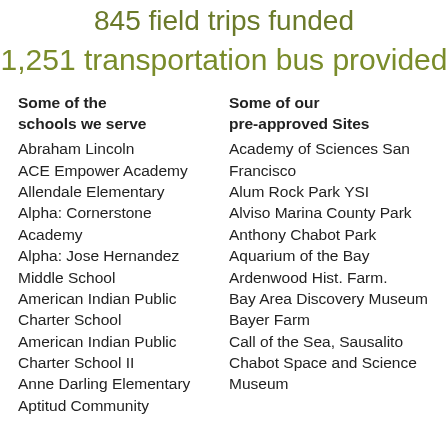845 field trips funded
1,251 transportation bus provided
Some of the schools we serve
Abraham Lincoln
ACE Empower Academy
Allendale Elementary
Alpha: Cornerstone Academy
Alpha: Jose Hernandez Middle School
American Indian Public Charter School
American Indian Public Charter School II
Anne Darling Elementary
Aptitud Community
Some of our pre-approved Sites
Academy of Sciences San Francisco
Alum Rock Park YSI
Alviso Marina County Park
Anthony Chabot Park
Aquarium of the Bay
Ardenwood Hist. Farm.
Bay Area Discovery Museum
Bayer Farm
Call of the Sea, Sausalito
Chabot Space and Science Museum